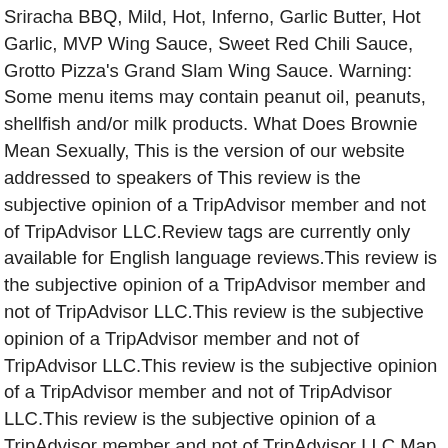Sriracha BBQ, Mild, Hot, Inferno, Garlic Butter, Hot Garlic, MVP Wing Sauce, Sweet Red Chili Sauce, Grotto Pizza's Grand Slam Wing Sauce. Warning: Some menu items may contain peanut oil, peanuts, shellfish and/or milk products. What Does Brownie Mean Sexually, This is the version of our website addressed to speakers of This review is the subjective opinion of a TripAdvisor member and not of TripAdvisor LLC.Review tags are currently only available for English language reviews.This review is the subjective opinion of a TripAdvisor member and not of TripAdvisor LLC.This review is the subjective opinion of a TripAdvisor member and not of TripAdvisor LLC.This review is the subjective opinion of a TripAdvisor member and not of TripAdvisor LLC.This review is the subjective opinion of a TripAdvisor member and not of TripAdvisor LLC.Map updates are paused. toasted artisan bread served with marinated tomatoes, fresh basil, garlic, onions, and extra virgin olive oil. Thank goodness these were created by the Anchor Bar many years ago. I love having the kids in the garden with me whether they are helping me plant or playing nearby  so, This entry is part 23 of 23 in the series Food Network  One of the foods